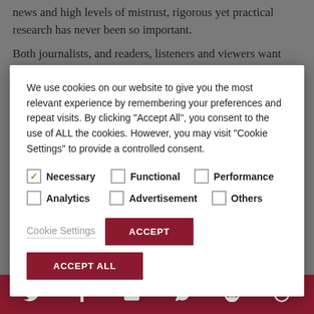news and high levels of mistrust, rigorous yet practical research has never been so important.
Both journalists, and readers, listeners and viewers want
We use cookies on our website to give you the most relevant experience by remembering your preferences and repeat visits. By clicking “Accept All”, you consent to the use of ALL the cookies. However, you may visit “Cookie Settings” to provide a controlled consent.
Necessary (checked), Functional, Performance, Analytics, Advertisement, Others
Cookie Settings | ACCEPT | ACCEPT ALL
need to be communicated clearly and concisely. For
[Figure (screenshot): Footer social share bar with Twitter, Facebook, Email, WhatsApp, SMS, and share icons in white on dark red background]